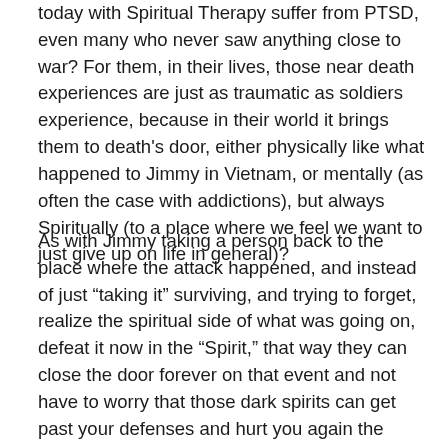today with Spiritual Therapy suffer from PTSD, even many who never saw anything close to war? For them, in their lives, those near death experiences are just as traumatic as soldiers experience, because in their world it brings them to death's door, either physically like what happened to Jimmy in Vietnam, or mentally (as often the case with addictions), but always Spiritually (to a place where we feel we want to just give up on life in general)?
As with Jimmy taking a person back to the place where the attack happened, and instead of just “taking it” surviving, and trying to forget, realize the spiritual side of what was going on, defeat it now in the “Spirit,” that way they can close the door forever on that event and not have to worry that those dark spirits can get past your defenses and hurt you again the same way in the future? A realization that sometimes is immediate but in other cases